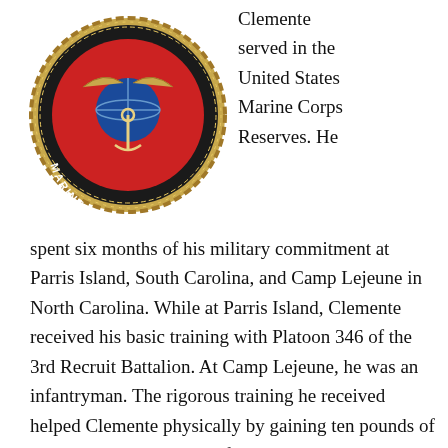[Figure (illustration): United States Marine Corps emblem/seal — circular badge with eagle, globe and anchor on red and black background with gold rope border and 'Marine Corps' text]
Clemente served in the United States Marine Corps Reserves. He spent six months of his military commitment at Parris Island, South Carolina, and Camp Lejeune in North Carolina. While at Parris Island, Clemente received his basic training with Platoon 346 of the 3rd Recruit Battalion. At Camp Lejeune, he was an infantryman. The rigorous training he received helped Clemente physically by gaining ten pounds of muscle and ridding him of long-time back pain. Having served until 1964, Roberto was inducted into the Marine Corps Sports Hall of Fame in 2003.
[Figure (photo): Black and white photograph showing military hats and equipment, including what appears to be a rifle or bayonet in the center]